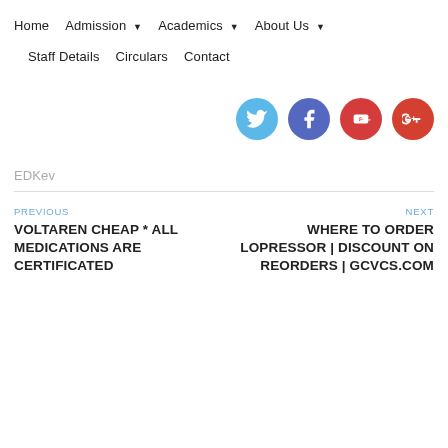Home  Admission ▾  Academics ▾  About Us ▾  Staff Details  Circulars  Contact
[Figure (other): Social media icons: Twitter (blue), Facebook (purple), YouTube (red), Google+ (red-orange)]
EDKev
PREVIOUS
VOLTAREN CHEAP * ALL MEDICATIONS ARE CERTIFICATED
NEXT
WHERE TO ORDER LOPRESSOR | DISCOUNT ON REORDERS | GCVCS.COM